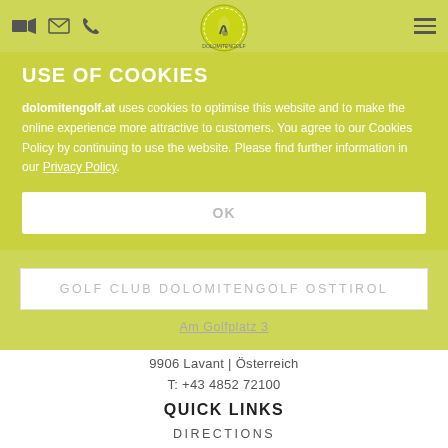Navigation bar with video, email, phone icons and hamburger menu; golf club logo in center
USE OF COOKIES
dolomitengolf.at uses cookies to optimise this website and to make the online experience more attractive to customers. You agree to our Cookies Policy by continuing to use the website. Please find further information in our Privacy Policy.
OK
GOLF CLUB DOLOMITENGOLF OSTTIROL
Am Golfplatz 3
9906 Lavant | Österreich
T: +43 4852 72100
E: info@dolomitengolf.at
QUICK LINKS
DIRECTIONS
CONTACT
WEBCAMS